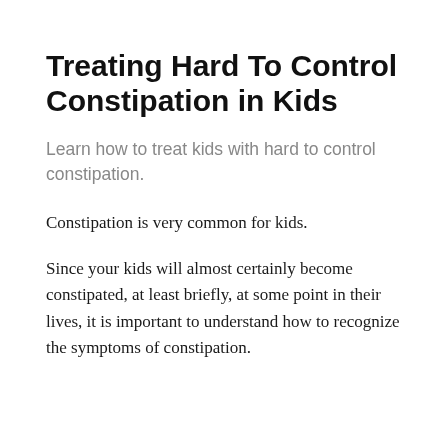Treating Hard To Control Constipation in Kids
Learn how to treat kids with hard to control constipation.
Constipation is very common for kids.
Since your kids will almost certainly become constipated, at least briefly, at some point in their lives, it is important to understand how to recognize the symptoms of constipation.